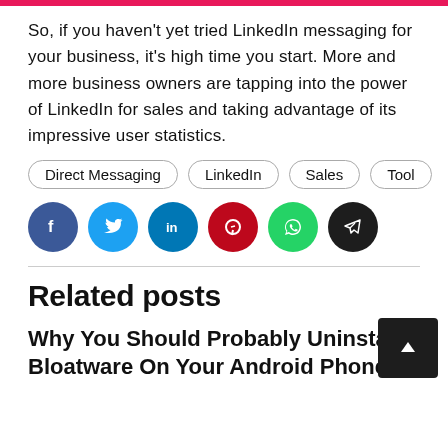So, if you haven't yet tried LinkedIn messaging for your business, it's high time you start. More and more business owners are tapping into the power of LinkedIn for sales and taking advantage of its impressive user statistics.
Direct Messaging
LinkedIn
Sales
Tool
[Figure (infographic): Social sharing buttons: Facebook (dark blue), Twitter (light blue), LinkedIn (blue), Pinterest (red), WhatsApp (green), Telegram (dark/black)]
Related posts
Why You Should Probably Uninstall Bloatware On Your Android Phone